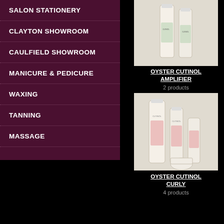SALON STATIONERY
CLAYTON SHOWROOM
CAULFIELD SHOWROOM
MANICURE & PEDICURE
WAXING
TANNING
MASSAGE
[Figure (photo): Two tall bottles of Oyster Cutinol Amplifier hair product on white/cream background]
OYSTER CUTINOL AMPLIFIER
2 products
[Figure (photo): Multiple bottles and containers of Oyster Cutinol Curly hair product line on white/cream background]
OYSTER CUTINOL CURLY
4 products